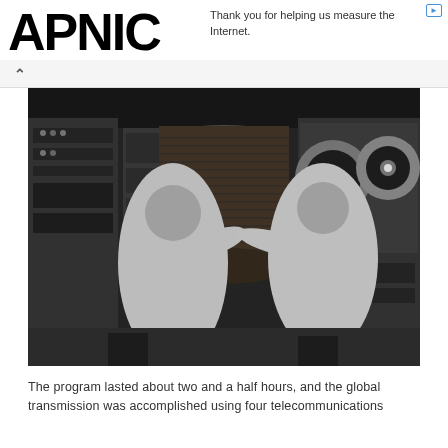APNIC
Thank you for helping us measure the Internet.
[Figure (photo): Black and white photograph of two men in white lab coats working on a large cylindrical piece of computer/telecommunications equipment in a room filled with control panels and reel-to-reel tape drives.]
The program lasted about two and a half hours, and the global transmission was accomplished using four telecommunications